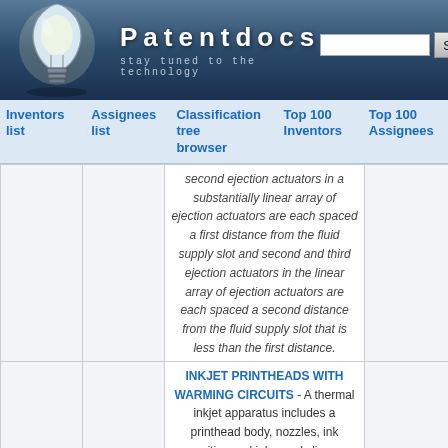Patentdocs — stay tuned to the technology
Inventors list
Assignees list
Classification tree browser
Top 100 Inventors
Top 100 Assignees
second ejection actuators in a substantially linear array of ejection actuators are each spaced a first distance from the fluid supply slot and second and third ejection actuators in the linear array of ejection actuators are each spaced a second distance from the fluid supply slot that is less than the first distance.
INKJET PRINTHEADS WITH WARMING CIRCUITS - A thermal inkjet apparatus includes a printhead body, nozzles, ink cavities and ink supply lines. Heater resistors are in the cavities and a firing circuit is connected to provide firing pulses to the heater resistor and nucleate the ink so that it fires ink out of the nozzles. Each heater resistor is also connected to a warming circuit that supplies warming pulses, one warming pulse during each firing cycle, to continuously maintain inkjet...